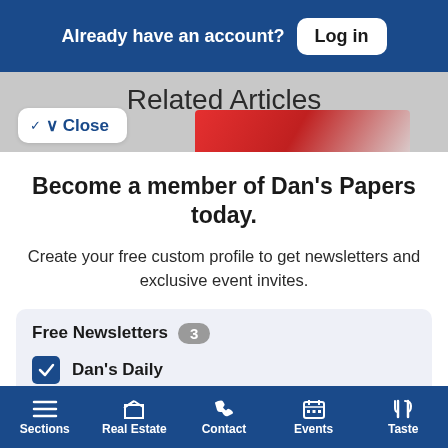Already have an account? Log in
Related Articles
Close
Become a member of Dan's Papers today.
Create your free custom profile to get newsletters and exclusive event invites.
Free Newsletters 3
Dan's Daily
Dan's Hamptons Insider
Sections  Real Estate  Contact  Events  Taste